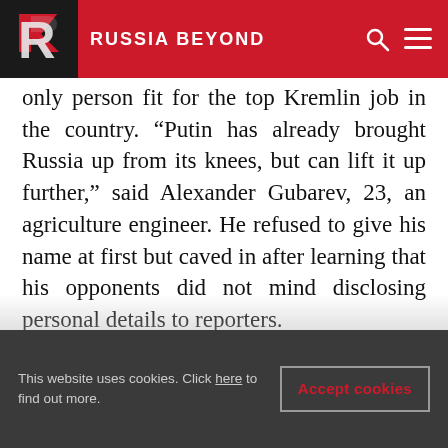RUSSIA BEYOND
only person fit for the top Kremlin job in the country. “Putin has already brought Russia up from its knees, but can lift it up further,” said Alexander Gubarev, 23, an agriculture engineer. He refused to give his name at first but caved in after learning that his opponents did not mind disclosing personal details to reporters.
All Putin supporters insisted they were grassroots activists not affiliated with any organization. Events by pro-Putin groups in the past have seen many provincial residents participate, attracted by
This website uses cookies. Click here to find out more.
Accept cookies